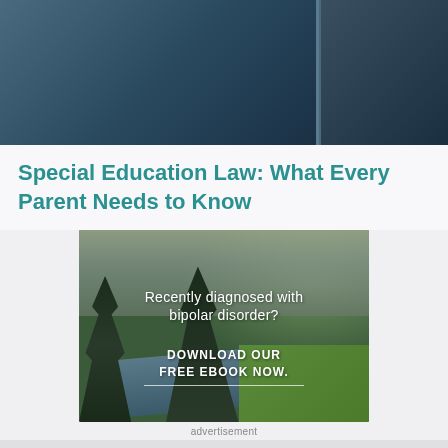[Figure (photo): Dark blue-toned window panes photo at top of page, appears to be a building exterior]
Special Education Law: What Every Parent Needs to Know
[Figure (photo): Advertisement image showing a forest river landscape with text overlay: 'Recently diagnosed with bipolar disorder? DOWNLOAD OUR FREE EBOOK NOW.']
advertisement